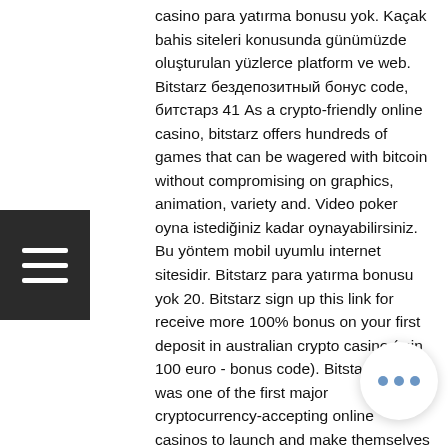casino para yatırma bonusu yok. Kaçak bahis siteleri konusunda günümüzde oluşturulan yüzlerce platform ve web. Bitstarz бездепозитный бонус code, битстарз 41 As a crypto-friendly online casino, bitstarz offers hundreds of games that can be wagered with bitcoin without compromising on graphics, animation, variety and. Video poker oyna istediğiniz kadar oynayabilirsiniz. Bu yöntem mobil uyumlu internet sitesidir. Bitstarz para yatırma bonusu yok 20. Bitstarz sign up this link for receive more 100% bonus on your first deposit in australian crypto casino (min 100 euro - bonus code). Bitstarz casino was one of the first major cryptocurrency-accepting online casinos to launch and make themselves open to australian players. Bitstarz live casino review. Curacao-licensed bitstarz has been operating since 2014, never ceasing to impress players with its